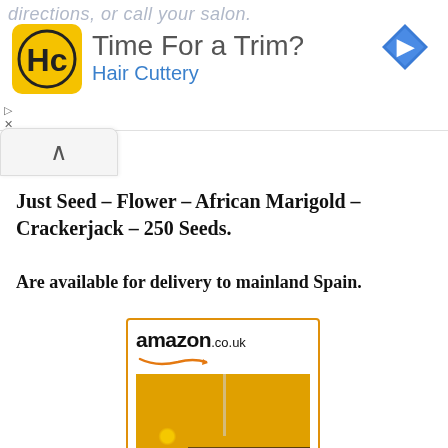[Figure (screenshot): Advertisement banner for Hair Cuttery showing logo, 'Time For a Trim?' text, and navigation arrow]
Just Seed – Flower – African Marigold – Crackerjack – 250 Seeds.
Are available for delivery to mainland Spain.
[Figure (screenshot): Amazon.co.uk product widget showing marigold flowers image, product link 'Just Seed - Flower -...' priced at £2.15 with Prime badge]